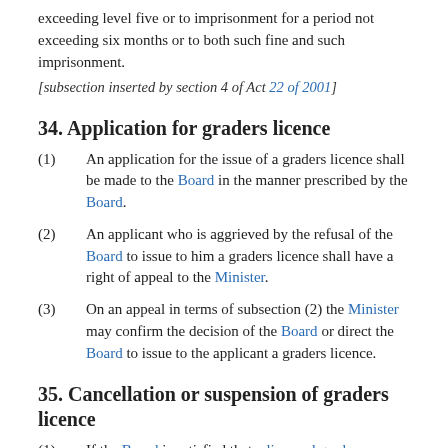exceeding level five or to imprisonment for a period not exceeding six months or to both such fine and such imprisonment.
[subsection inserted by section 4 of Act 22 of 2001]
34. Application for graders licence
(1)   An application for the issue of a graders licence shall be made to the Board in the manner prescribed by the Board.
(2)   An applicant who is aggrieved by the refusal of the Board to issue to him a graders licence shall have a right of appeal to the Minister.
(3)   On an appeal in terms of subsection (2) the Minister may confirm the decision of the Board or direct the Board to issue to the applicant a graders licence.
35. Cancellation or suspension of graders licence
(1)   If the Board is satisfied that a licensed grader—